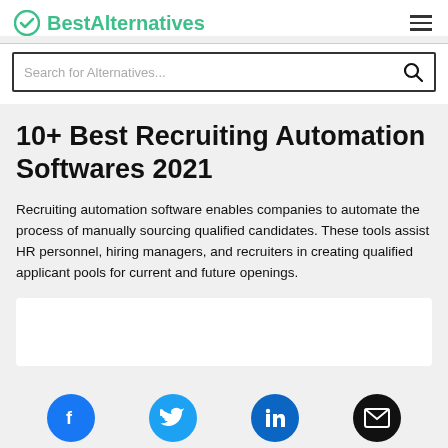BestAlternatives
Search for Alternatives...
10+ Best Recruiting Automation Softwares 2021
Recruiting automation software enables companies to automate the process of manually sourcing qualified candidates. These tools assist HR personnel, hiring managers, and recruiters in creating qualified applicant pools for current and future openings.
[Figure (other): Partially visible card/content block at bottom of page]